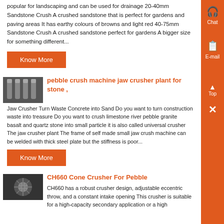popular for landscaping and can be used for drainage 20-40mm Sandstone Crush A crushed sandstone that is perfect for gardens and paving areas It has earthy colours of browns and light red 40-75mm Sandstone Crush A crushed sandstone perfect for gardens A bigger size for something different...
Know More
[Figure (photo): Image of bolts or cylindrical metal fasteners arranged in a row]
pebble crush machine jaw crusher plant for stone ,
Jaw Crusher Turn Waste Concrete into Sand Do you want to turn construction waste into treasure Do you want to crush limestone river pebble granite basalt and quartz stone into small particle it is also called universal crusher The jaw crusher plant The frame of self made small jaw crush machine can be welded with thick steel plate but the stiffness is poor...
Know More
[Figure (photo): Image of a cone crusher or mechanical crusher machine]
CH660 Cone Crusher For Pebble
CH660 has a robust crusher design, adjustable eccentric throw, and a constant intake opening This crusher is suitable for a high-capacity secondary application or a high